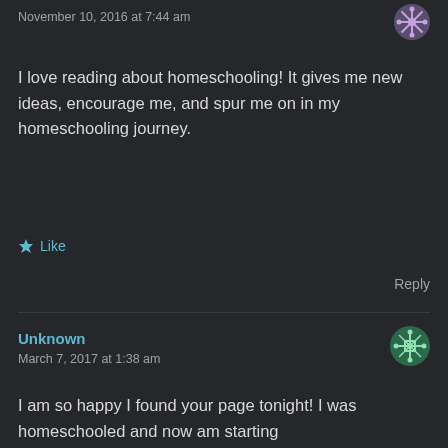November 10, 2016 at 7:44 am
[Figure (illustration): User avatar icon with snowflake-like pattern, top right corner]
I love reading about homeschooling! It gives me new ideas, encourage me, and spur me on in my homeschooling journey.
★ Like
Reply
Unknown
March 7, 2017 at 1:38 am
[Figure (illustration): User avatar icon with geometric snowflake-like pattern, right side]
I am so happy I found your page tonight! I was homeschooled and now am starting preschool/kindergarten with my very active 5 year old,